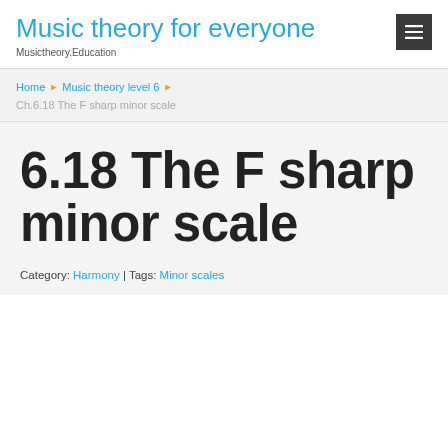Music theory for everyone
Musictheory.Education
Home › Music theory level 6 › Ch.6.18 The F sharp minor scale
6.18 The F sharp minor scale
Category: Harmony | Tags: Minor scales